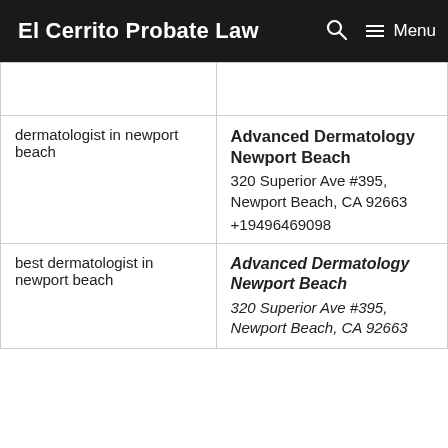El Cerrito Probate Law  🔍  ☰ Menu
|  |  |
| --- | --- |
|  |  |
| dermatologist in newport beach | Advanced Dermatology Newport Beach
320 Superior Ave #395, Newport Beach, CA 92663
+19496469098 |
| best dermatologist in newport beach | Advanced Dermatology Newport Beach
320 Superior Ave #395, Newport Beach, CA 92663 |